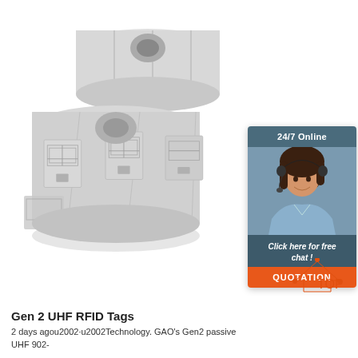[Figure (photo): Two rolls of RFID UHF label tags on a white background. The rolls show square RFID inlay labels with antenna patterns visible.]
[Figure (infographic): Customer service chat widget with '24/7 Online' header, photo of smiling woman with headset, 'Click here for free chat!' message, and orange QUOTATION button. Dark teal/blue background.]
[Figure (logo): TOP logo: orange triangle/house shape with dots at corners above the word TOP in orange letters.]
Gen 2 UHF RFID Tags
2 days agou2002·u2002Technology. GAO's Gen2 passive UHF 902-